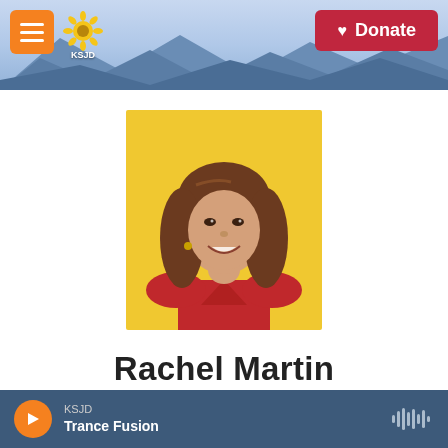KSJD — Donate
[Figure (photo): Portrait photo of Rachel Martin in a red sleeveless top against a bright yellow background, with shoulder-length brown hair]
Rachel Martin
KSJD · Trance Fusion